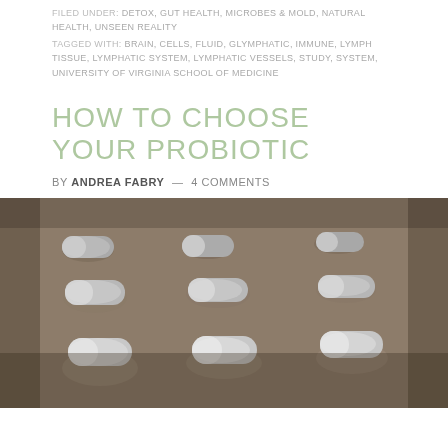FILED UNDER: DETOX, GUT HEALTH, MICROBES & MOLD, NATURAL HEALTH, UNSEEN REALITY
TAGGED WITH: BRAIN, CELLS, FLUID, GLYMPHATIC, IMMUNE, LYMPH TISSUE, LYMPHATIC SYSTEM, LYMPHATIC VESSELS, STUDY, SYSTEM, UNIVERSITY OF VIRGINIA SCHOOL OF MEDICINE
HOW TO CHOOSE YOUR PROBIOTIC
BY ANDREA FABRY — 4 COMMENTS
[Figure (photo): Close-up photograph of white probiotic capsule pills in blister packs arranged in rows on a tray]